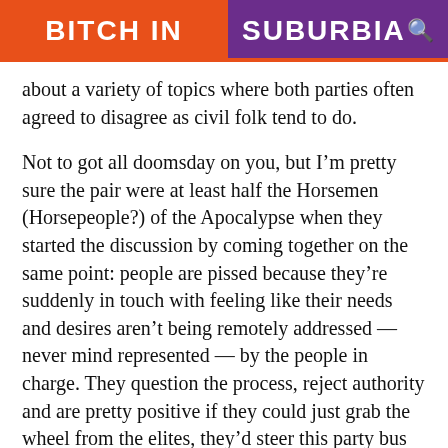BITCH IN SUBURBIA
about a variety of topics where both parties often agreed to disagree as civil folk tend to do.
Not to got all doomsday on you, but I’m pretty sure the pair were at least half the Horsemen (Horsepeople?) of the Apocalypse when they started the discussion by coming together on the same point: people are pissed because they’re suddenly in touch with feeling like their needs and desires aren’t being remotely addressed — never mind represented — by the people in charge. They question the process, reject authority and are pretty positive if they could just grab the wheel from the elites, they’d steer this party bus back on track and headed to a much brighter future.
READ MORE